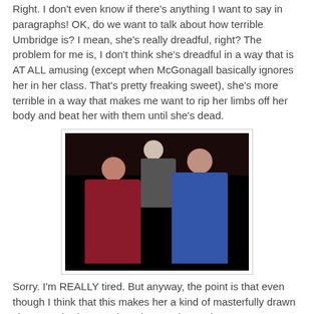Right. I don't even know if there's anything I want to say in paragraphs! OK, do we want to talk about how terrible Umbridge is? I mean, she's really dreadful, right? The problem for me is, I don't think she's dreadful in a way that is AT ALL amusing (except when McGonagall basically ignores her in her class. That's pretty freaking sweet), she's more terrible in a way that makes me want to rip her limbs off her body and beat her with them until she's dead.
[Figure (photo): A dark photo showing three people, two in the foreground (one in a red shirt, one in a blue shirt) and one in the background, appearing to be in a dimly lit room.]
Sorry. I'm REALLY tired. But anyway, the point is that even though I think that this makes her a kind of masterfully drawn character, it's just another element that makes OotP EXHAUSTING for me as opposed to mostly fun but with some, you know, perilous bits. A couple more things about her though- surely she's really really not allowed to use that